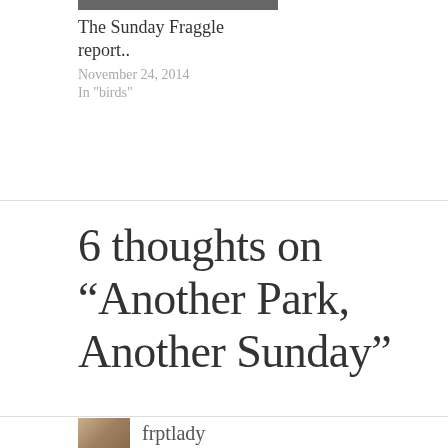[Figure (photo): Thumbnail image strip at top]
The Sunday Fraggle report..
November 24, 2014
In "birds"
6 thoughts on “Another Park, Another Sunday”
[Figure (photo): Avatar photo of commenter frptlady]
frptlady